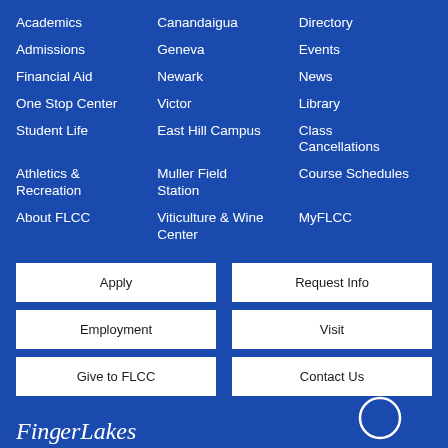Academics
Canandaigua
Directory
Admissions
Geneva
Events
Financial Aid
Newark
News
One Stop Center
Victor
Library
Student Life
East Hill Campus
Class Cancellations
Athletics & Recreation
Muller Field Station
Course Schedules
About FLCC
Viticulture & Wine Center
MyFLCC
Apply
Request Info
Employment
Visit
Give to FLCC
Contact Us
FingerLakes